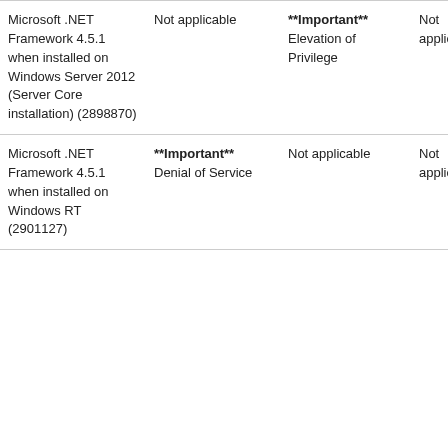| Microsoft .NET Framework 4.5.1 when installed on Windows Server 2012 (Server Core installation) (2898870) | Not applicable | **Important** Elevation of Privilege | Not applicable | ** |
| Microsoft .NET Framework 4.5.1 when installed on Windows RT (2901127) | **Important** Denial of Service | Not applicable | Not applicable | ** |